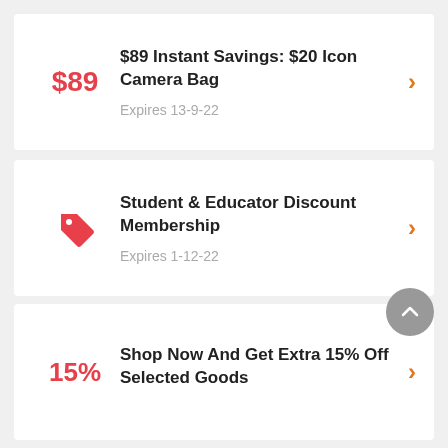$89 | $89 Instant Savings: $20 Icon Camera Bag | Expires 13-9-22
Student & Educator Discount Membership | Expires 1-12-22
15% | Shop Now And Get Extra 15% Off Selected Goods